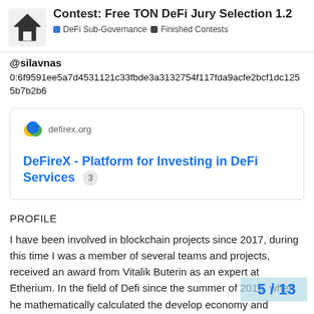Contest: Free TON DeFi Jury Selection 1.2 | DeFi Sub-Governance | Finished Contests
@silavnas
0:6f9591ee5a7d4531121c33fbde3a3132754f117fda9acfe2bcf1dc1255b7b2b6
[Figure (screenshot): Link card for defirex.org showing logo and title: DeFireX - Platform for Investing in DeFi Services with badge 3]
PROFILE
I have been involved in blockchain projects since 2017, during this time I was a member of several teams and projects, received an award from Vitalik Buterin as an expert at Etherium. In the field of Defi since the summer of 2019, when he mathematically calculated the develop economy and blockchain. Since the fall of
5 / 13